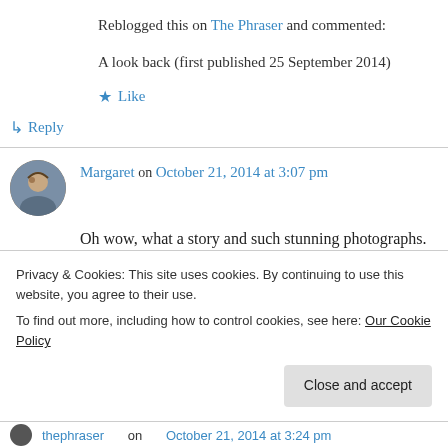Reblogged this on The Phraser and commented:
A look back (first published 25 September 2014)
★ Like
↳ Reply
Margaret on October 21, 2014 at 3:07 pm
Oh wow, what a story and such stunning photographs. (and thanks for the link to the Mary Beard article.)
Privacy & Cookies: This site uses cookies. By continuing to use this website, you agree to their use. To find out more, including how to control cookies, see here: Our Cookie Policy
Close and accept
thephraser on October 21, 2014 at 3:24 pm